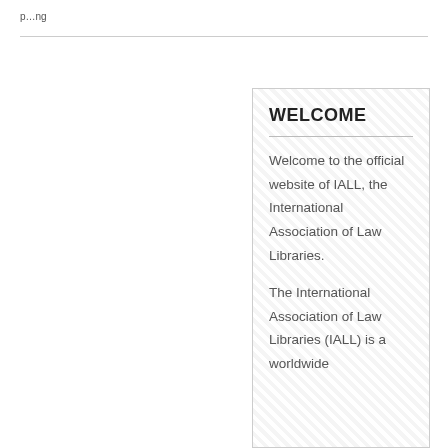p...ng
WELCOME
Welcome to the official website of IALL, the International Association of Law Libraries.
The International Association of Law Libraries (IALL) is a worldwide